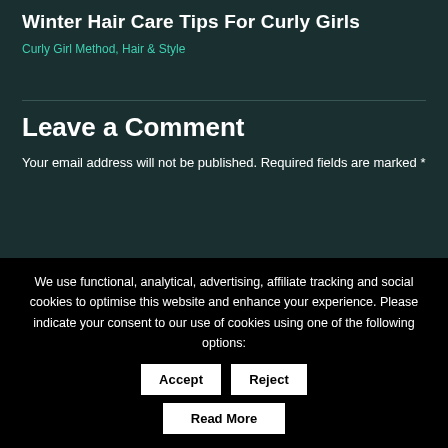Winter Hair Care Tips For Curly Girls
Curly Girl Method, Hair & Style
Leave a Comment
Your email address will not be published. Required fields are marked *
We use functional, analytical, advertising, affiliate tracking and social cookies to optimise this website and enhance your experience. Please indicate your consent to our use of cookies using one of the following options:
Accept | Reject
Read More